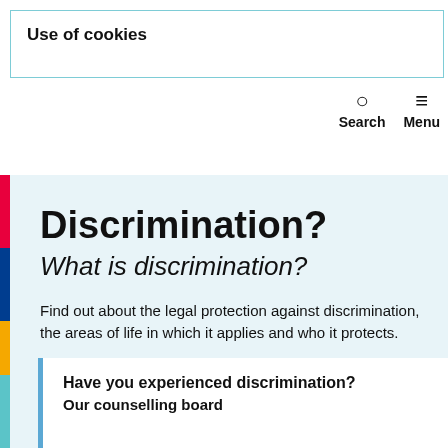Use of cookies
Search  Menu
Discrimination?
What is discrimination?
Find out about the legal protection against discrimination, the areas of life in which it applies and who it protects.
Read more
Have you experienced discrimination?
Our counselling board